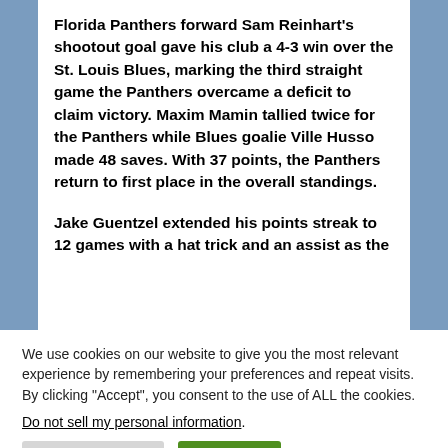Florida Panthers forward Sam Reinhart's shootout goal gave his club a 4-3 win over the St. Louis Blues, marking the third straight game the Panthers overcame a deficit to claim victory. Maxim Mamin tallied twice for the Panthers while Blues goalie Ville Husso made 48 saves. With 37 points, the Panthers return to first place in the overall standings.
Jake Guentzel extended his points streak to 12 games with a hat trick and an assist as the
We use cookies on our website to give you the most relevant experience by remembering your preferences and repeat visits. By clicking “Accept”, you consent to the use of ALL the cookies.
Do not sell my personal information.